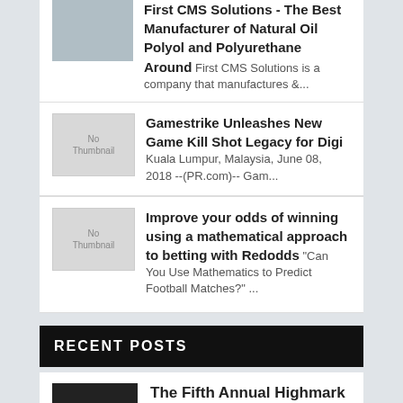First CMS Solutions - The Best Manufacturer of Natural Oil Polyol and Polyurethane Around First CMS Solutions is a company that manufactures &...
Gamestrike Unleashes New Game Kill Shot Legacy for Digi Kuala Lumpur, Malaysia, June 08, 2018 --(PR.com)-- Gam...
Improve your odds of winning using a mathematical approach to betting with Redodds "Can You Use Mathematics to Predict Football Matches?" ...
RECENT POSTS
The Fifth Annual Highmark Blues & Heritage Festival Takes Over Pittsburgh's Highmark Stadium September 14-15, 2022 Aug 30, 2022 | Entertainment